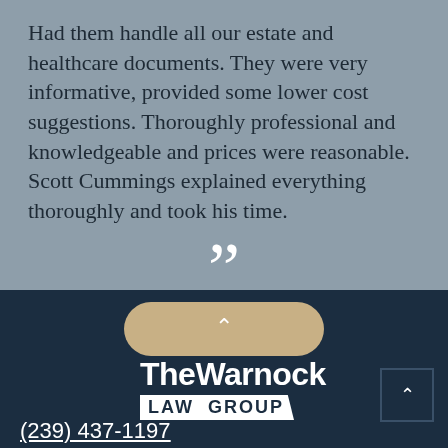Had them handle all our estate and healthcare documents. They were very informative, provided some lower cost suggestions. Thoroughly professional and knowledgeable and prices were reasonable. Scott Cummings explained everything thoroughly and took his time.
[Figure (illustration): Large white closing double quotation marks on grey background]
[Figure (illustration): Tan/beige pill-shaped button with white upward chevron on dark navy background]
[Figure (logo): The Warnock Law Group logo in white on dark navy background]
(239) 437-1197